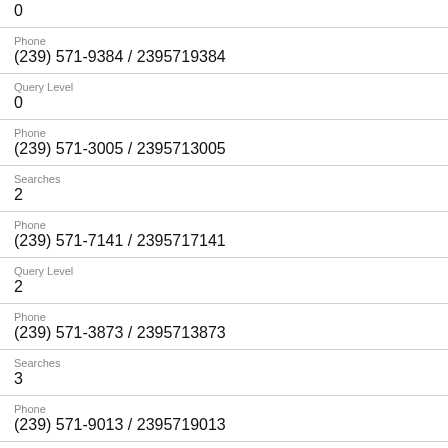0
Phone
(239) 571-9384 / 2395719384
Query Level
0
Phone
(239) 571-3005 / 2395713005
Searches
2
Phone
(239) 571-7141 / 2395717141
Query Level
2
Phone
(239) 571-3873 / 2395713873
Searches
3
Phone
(239) 571-9013 / 2395719013